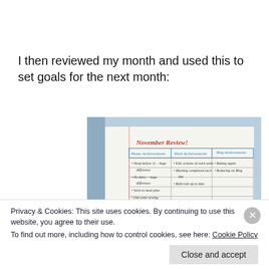I then reviewed my month and used this to set goals for the next month:
[Figure (photo): A handwritten notebook page titled 'November Review' with a table containing columns: Home Achievements, Work Achievements, Blog Achievements. Bullet points list various personal and professional achievements for the month.]
Privacy & Cookies: This site uses cookies. By continuing to use this website, you agree to their use.
To find out more, including how to control cookies, see here: Cookie Policy